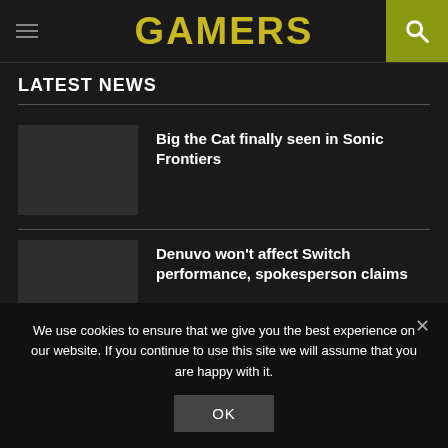GAMERS
LATEST NEWS
Big the Cat finally seen in Sonic Frontiers
Denuvo won't affect Switch performance, spokesperson claims
We use cookies to ensure that we give you the best experience on our website. If you continue to use this site we will assume that you are happy with it.